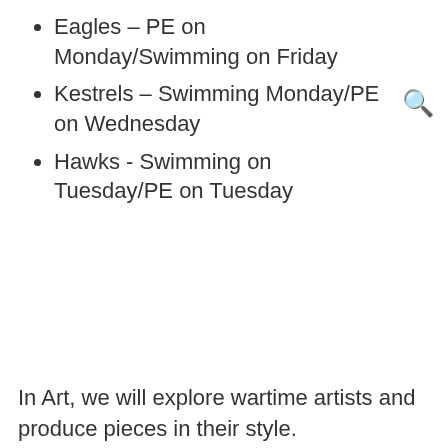Eagles – PE on Monday/Swimming on Friday
Kestrels – Swimming Monday/PE on Wednesday
Hawks - Swimming on Tuesday/PE on Tuesday
In Art, we will explore wartime artists and produce pieces in their style.
In Spanish, the children will learn about rooms in the ho…
In RE, … and the signs a…
Our School Values Focus: Be…
Cookie Policy
This site uses cookies to store information on your computer. Click here for more information
Allow Cookies  Deny Cookies